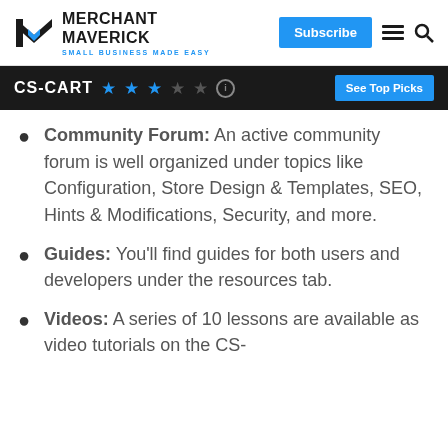MERCHANT MAVERICK — SMALL BUSINESS MADE EASY
CS-CART — Rating: 2.5 stars — See Top Picks
Community Forum: An active community forum is well organized under topics like Configuration, Store Design & Templates, SEO, Hints & Modifications, Security, and more.
Guides: You'll find guides for both users and developers under the resources tab.
Videos: A series of 10 lessons are available as video tutorials on the CS-